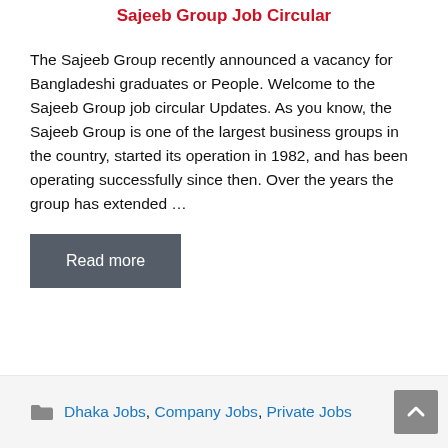Sajeeb Group Job Circular
The Sajeeb Group recently announced a vacancy for Bangladeshi graduates or People. Welcome to the Sajeeb Group job circular Updates. As you know, the Sajeeb Group is one of the largest business groups in the country, started its operation in 1982, and has been operating successfully since then. Over the years the group has extended …
Read more
Dhaka Jobs, Company Jobs, Private Jobs